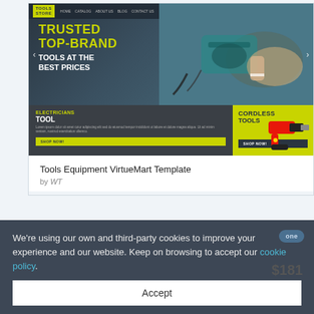[Figure (screenshot): A screenshot of a tools e-commerce website called Tools Store showing a hero banner with 'Trusted Top-Brand Tools at the Best Prices', an electricians tool promo and cordless tools promo section, and a product listing for 'Tools Equipment VirtueMart Template' by WT.]
We're using our own and third-party cookies to improve your experience and our website. Keep on browsing to accept our cookie policy.
Accept